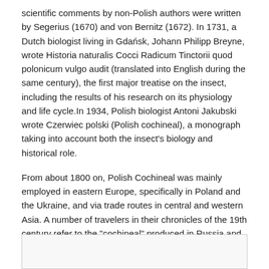scientific comments by non-Polish authors were written by Segerius (1670) and von Bernitz (1672). In 1731, a Dutch biologist living in Gdańsk, Johann Philipp Breyne, wrote Historia naturalis Cocci Radicum Tinctorii quod polonicum vulgo audit (translated into English during the same century), the first major treatise on the insect, including the results of his research on its physiology and life cycle.In 1934, Polish biologist Antoni Jakubski wrote Czerwiec polski (Polish cochineal), a monograph taking into account both the insect's biology and historical role.
From about 1800 on, Polish Cochineal was mainly employed in eastern Europe, specifically in Poland and the Ukraine, and via trade routes in central and western Asia. A number of travelers in their chronicles of the 19th century refer to the "cochineal" produced in Russia and brought to Kashgar, Kabul, and Herat via Bukhara. This type of cochineal may have relevance to the available data we have regarding the use of two types of "cochineal" in Turkoman tribal rugs and trappings.
[Figure (other): Empty box at the bottom of the page, likely a placeholder for an image or figure.]